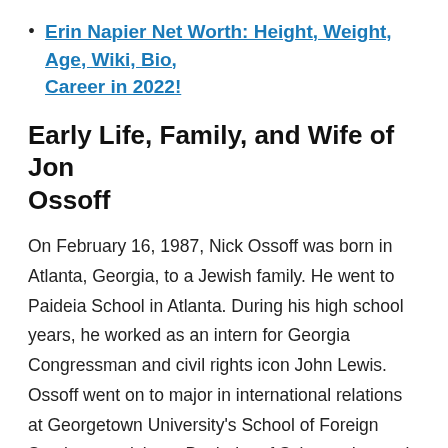Erin Napier Net Worth: Height, Weight, Age, Wiki, Bio, Career in 2022!
Early Life, Family, and Wife of Jon Ossoff
On February 16, 1987, Nick Ossoff was born in Atlanta, Georgia, to a Jewish family. He went to Paideia School in Atlanta. During his high school years, he worked as an intern for Georgia Congressman and civil rights icon John Lewis. Ossoff went on to major in international relations at Georgetown University's School of Foreign Service, receiving a Bachelor of Science degree in 2009. He then completed his Master of Science degree from the London School of Economics in 2013.
Jon's mother, Heather Fenton, is the co-founder of NewPower PAC, a Georgia-based group that works to elect women to local